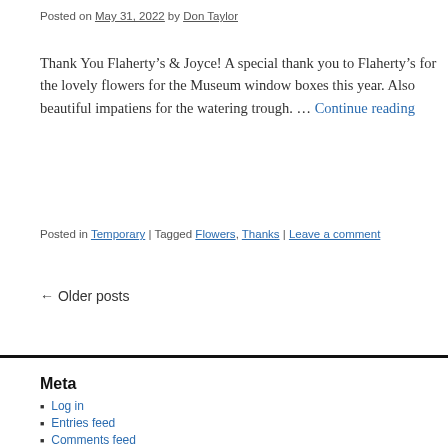Posted on May 31, 2022 by Don Taylor
Thank You Flaherty’s & Joyce! A special thank you to Flaherty’s for the lovely flowers for the Museum window boxes this year. Also beautiful impatiens for the watering trough. … Continue reading
Posted in Temporary | Tagged Flowers, Thanks | Leave a comment
← Older posts
Meta
Log in
Entries feed
Comments feed
WordPress.org
Scarborough Historical Society